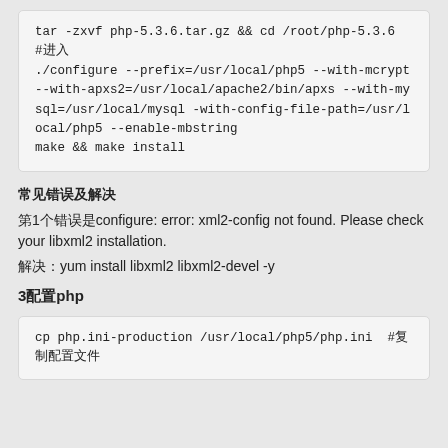tar -zxvf php-5.3.6.tar.gz && cd /root/php-5.3.6  #进入
./configure --prefix=/usr/local/php5 --with-mcrypt --with-apxs2=/usr/local/apache2/bin/apxs --with-mysql=/usr/local/mysql -with-config-file-path=/usr/local/php5 --enable-mbstring
make && make install
常见错误及解决
第1个错误是configure: error: xml2-config not found. Please check your libxml2 installation.
解决：yum install libxml2 libxml2-devel -y
3配置php
cp php.ini-production /usr/local/php5/php.ini  #复制配置文件